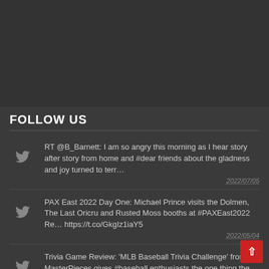[Figure (other): Dark gray background top area, empty space]
FOLLOW US
RT @B_Barnett: I am so angry this morning as I hear story after story from home and #dear friends about the gladness and joy turned to terr… 2022/07/05
PAX East 2022 Day One: Michael Prince visits the Dolmen, The Last Oricru and Rusted Moss booths at #PAXEast2022 Re… https://t.co/GkgIz1iaY5 2022/05/04
Trivia Game Review: 'MLB Baseball Trivia Challenge' from MasterPieces gives #baseball enthusiasts the one thing the… https://t.co/tMweaigByL 2022/...